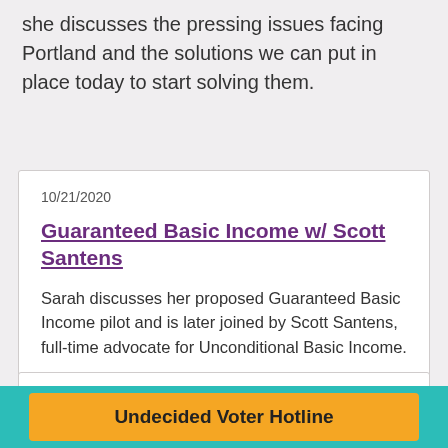she discusses the pressing issues facing Portland and the solutions we can put in place today to start solving them.
10/21/2020
Guaranteed Basic Income w/ Scott Santens
Sarah discusses her proposed Guaranteed Basic Income pilot and is later joined by Scott Santens, full-time advocate for Unconditional Basic Income.
9/17/2020
Undecided Voter Hotline